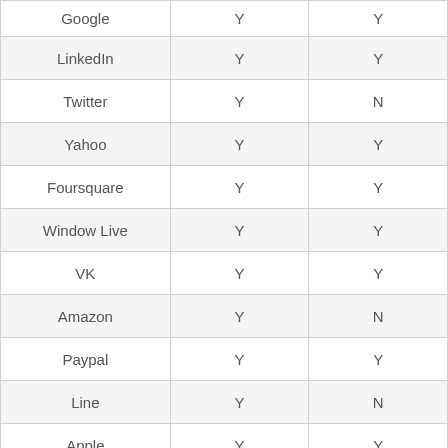| Google | Y | Y |
| LinkedIn | Y | Y |
| Twitter | Y | N |
| Yahoo | Y | Y |
| Foursquare | Y | Y |
| Window Live | Y | Y |
| VK | Y | Y |
| Amazon | Y | N |
| Paypal | Y | Y |
| Line | Y | N |
| Apple | Y | Y |